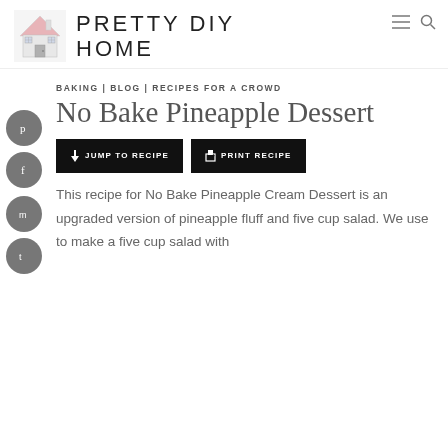PRETTY DIY HOME
BAKING | BLOG | RECIPES FOR A CROWD
No Bake Pineapple Dessert
JUMP TO RECIPE  PRINT RECIPE
This recipe for No Bake Pineapple Cream Dessert is an upgraded version of pineapple fluff and five cup salad. We use to make a five cup salad with